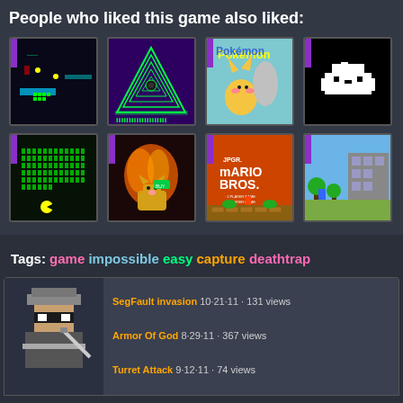People who liked this game also liked:
[Figure (screenshot): Grid of 8 game thumbnail images in 2 rows of 4]
Tags: game impossible easy capture deathtrap
[Figure (screenshot): Pixel art character (ninja/person) with game listing entries: SegFault invasion 10-21-11 · 131 views, Armor Of God 8-29-11 · 367 views, Turret Attack 9-12-11 · 74 views]